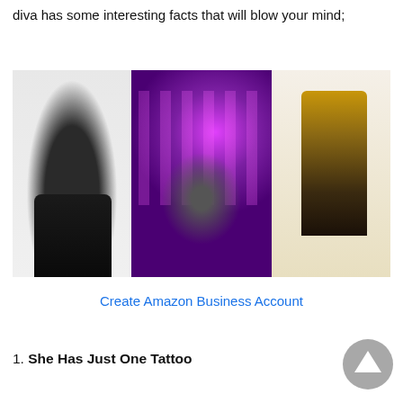diva has some interesting facts that will blow your mind;
[Figure (photo): Collage of three photos of a female celebrity: left shows her posing in a black outfit on white background, center shows her performing on a purple/pink lit stage, right shows her posing in a gold and black outfit.]
Create Amazon Business Account
1. She Has Just One Tattoo